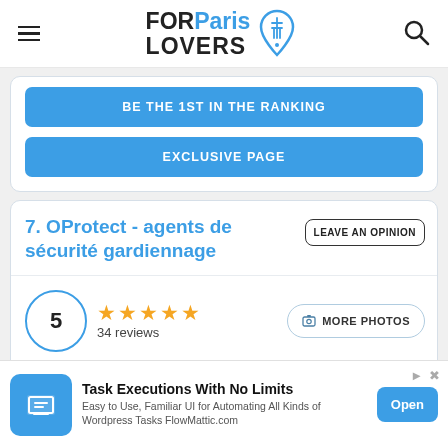FOR Paris LOVERS
BE THE 1ST IN THE RANKING
EXCLUSIVE PAGE
7. OProtect - agents de sécurité gardiennage
LEAVE AN OPINION
5 ★★★★★ 34 reviews
MORE PHOTOS
[Figure (screenshot): Advertisement banner for FlowMattic - Task Executions With No Limits. Easy to Use, Familiar UI for Automating All Kinds of Wordpress Tasks FlowMattic.com. Open button.]